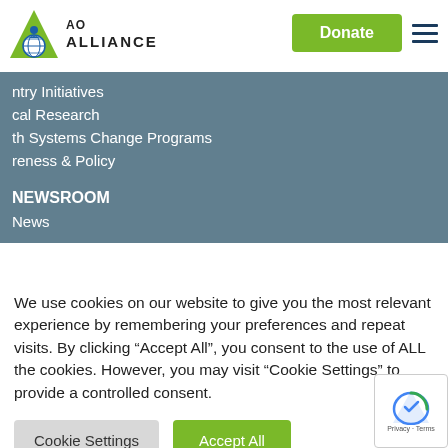[Figure (logo): AO Alliance logo with green triangle and globe icon, text 'AO ALLIANCE']
Donate
ntry Initiatives
cal Research
th Systems Change Programs
reness & Policy
NEWSROOM
News
We use cookies on our website to give you the most relevant experience by remembering your preferences and repeat visits. By clicking “Accept All”, you consent to the use of ALL the cookies. However, you may visit "Cookie Settings" to provide a controlled consent.
Cookie Settings
Accept All